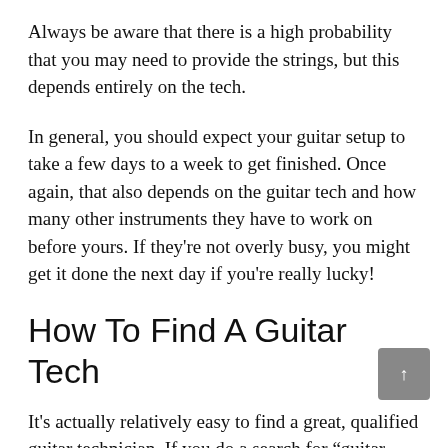Always be aware that there is a high probability that you may need to provide the strings, but this depends entirely on the tech.
In general, you should expect your guitar setup to take a few days to a week to get finished. Once again, that also depends on the guitar tech and how many other instruments they have to work on before yours. If they're not overly busy, you might get it done the next day if you're really lucky!
How To Find A Guitar Tech
It's actually relatively easy to find a great, qualified guitar technician. If you do a search for “guitar setup near me” or something very similar, you should get some quick results of